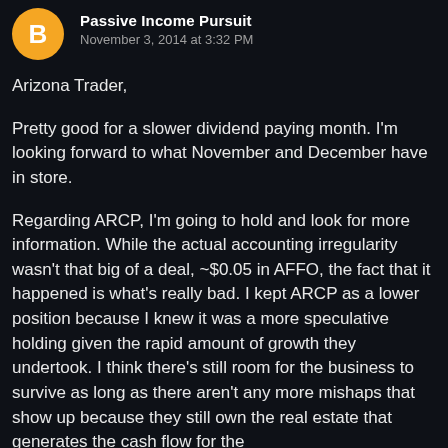Passive Income Pursuit · November 3, 2014 at 3:32 PM
Arizona Trader,
Pretty good for a slower dividend paying month. I'm looking forward to what November and December have in store.
Regarding ARCP, I'm going to hold and look for more information. While the actual accounting irregularity wasn't that big of a deal, ~$0.05 in AFFO, the fact that it happened is what's really bad. I kept ARCP as a lower position because I knew it was a more speculative holding given the rapid amount of growth they undertook. I think there's still room for the business to survive as long as there aren't any more mishaps that show up because they still own the real estate that generates the cash flow for the